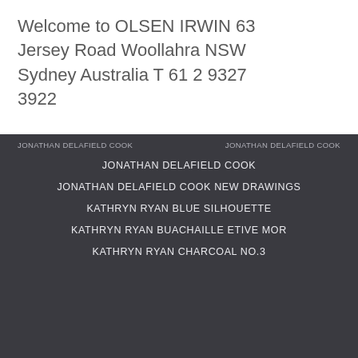Welcome to OLSEN IRWIN 63 Jersey Road Woollahra NSW Sydney Australia T 61 2 9327 3922
JONATHAN DELAFIELD COOK    JONATHAN DELAFIELD COOK
JONATHAN DELAFIELD COOK
JONATHAN DELAFIELD COOK NEW DRAWINGS
KATHRYN RYAN BLUE SILHOUETTE
KATHRYN RYAN BUACHAILLE ETIVE MOR
KATHRYN RYAN CHARCOAL NO.3